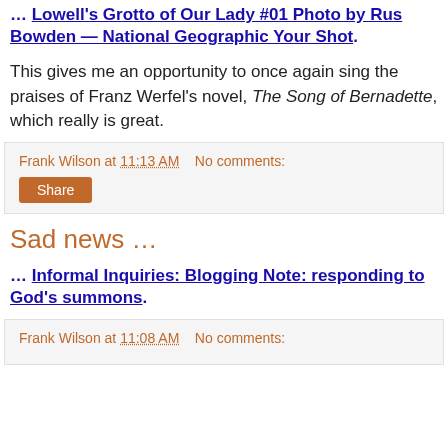… Lowell's Grotto of Our Lady #01 Photo by Rus Bowden — National Geographic Your Shot.
This gives me an opportunity to once again sing the praises of Franz Werfel's novel, The Song of Bernadette, which really is great.
Frank Wilson at 11:13 AM   No comments:
Sad news …
… Informal Inquiries: Blogging Note: responding to God's summons.
Frank Wilson at 11:08 AM   No comments: